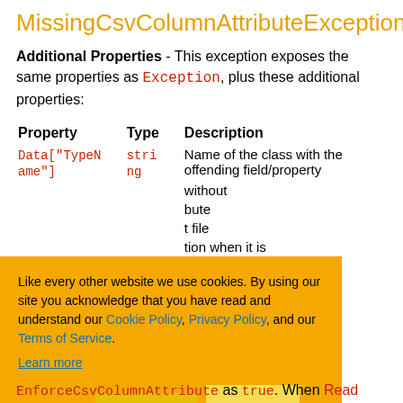MissingCsvColumnAttributeException
Additional Properties - This exception exposes the same properties as Exception, plus these additional properties:
| Property | Type | Description |
| --- | --- | --- |
| Data["TypeName"] | string | Name of the class with the offending field/property |
|  |  | without ... attribute |
|  |  | t file |
|  |  | tion when it is ... th |
Like every other website we use cookies. By using our site you acknowledge that you have read and understand our Cookie Policy, Privacy Policy, and our Terms of Service. Learn more
EnforceCsvColumnAttribute as true. When Read